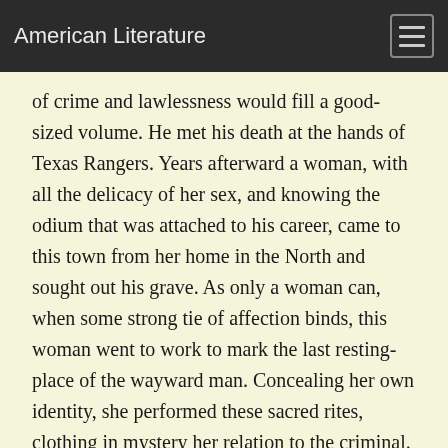American Literature
of crime and lawlessness would fill a good-sized volume. He met his death at the hands of Texas Rangers. Years afterward a woman, with all the delicacy of her sex, and knowing the odium that was attached to his career, came to this town from her home in the North and sought out his grave. As only a woman can, when some strong tie of affection binds, this woman went to work to mark the last resting-place of the wayward man. Concealing her own identity, she performed these sacred rites, clothing in mystery her relation to the criminal. The people of the village would not have withheld their services in well-meant friendship, but she shrank